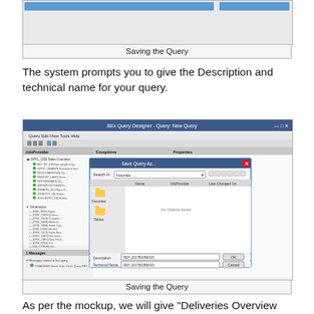[Figure (screenshot): Screenshot of BEx Query Designer with Save Query As dialog open, showing Favorites folder, Description field with 'REP_2017B10B60/20', and Technical Name field with 'REP_2017B10B60/20', plus OK and Cancel buttons.]
Saving the Query
The system prompts you to give the Description and technical name for your query.
[Figure (screenshot): Screenshot of BEx Query Designer - Query: New Query with Save Query As dialog open, showing Description and Technical Name fields filled in, with OK and Cancel buttons. Messages pane shows 'OWARNING Server error check: Query REP_2017B10B60/20 is saved.']
Saving the Query
As per the mockup, we will give "Deliveries Overview